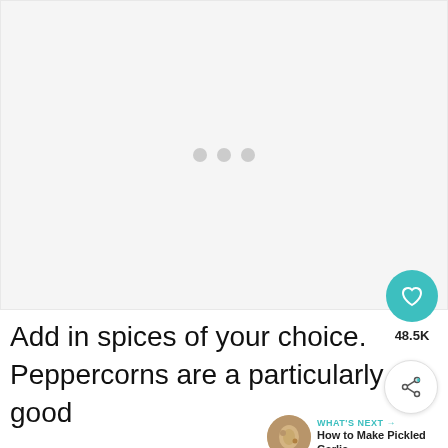[Figure (photo): Large image area showing a loading placeholder with three gray dots centered on a light gray background]
[Figure (infographic): UI overlay: teal heart/save button showing 48.5K saves, and a share button]
[Figure (infographic): WHAT'S NEXT arrow widget showing a thumbnail of pickled garlic with text 'How to Make Pickled Garlic']
Add in spices of your choice. Peppercorns are a particularly good choice for pickling. You can also